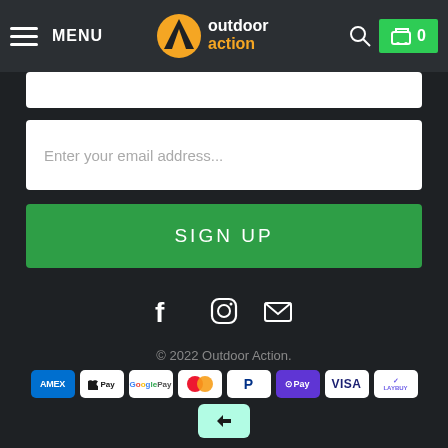MENU | outdoor action | 0
[Figure (screenshot): Partially visible white input field at top]
Enter your email address...
SIGN UP
[Figure (illustration): Social media icons: Facebook, Instagram, Email]
© 2022 Outdoor Action.
[Figure (logo): Payment icons: AMEX, Apple Pay, Google Pay, Mastercard, PayPal, OPay, VISA, LAYBUY, Afterpay]